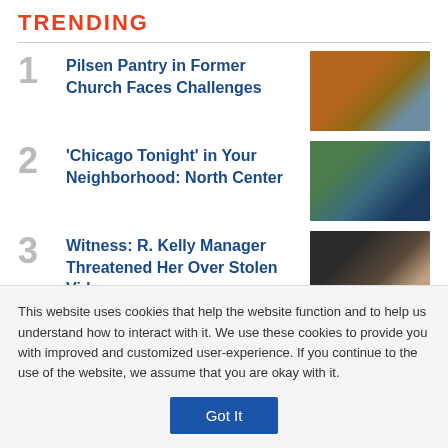TRENDING
1 Pilsen Pantry in Former Church Faces Challenges
[Figure (photo): Exterior photo of a brick church building with cars parked in front]
2 ‘Chicago Tonight’ in Your Neighborhood: North Center
[Figure (photo): Street scene with a colorful mural on a building, North Center neighborhood]
3 Witness: R. Kelly Manager Threatened Her Over Stolen Video
[Figure (photo): Interior scene with curtains and people seated]
This website uses cookies that help the website function and to help us understand how to interact with it. We use these cookies to provide you with improved and customized user-experience. If you continue to the use of the website, we assume that you are okay with it.
Got It